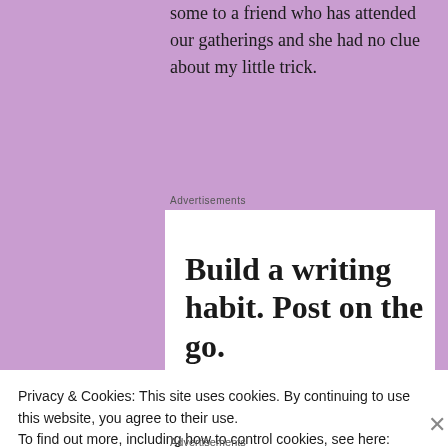some to a friend who has attended our gatherings and she had no clue about my little trick.
Advertisements
[Figure (screenshot): WordPress advertisement: 'Build a writing habit. Post on the go.' with GET THE APP call to action and WordPress logo]
Privacy & Cookies: This site uses cookies. By continuing to use this website, you agree to their use.
To find out more, including how to control cookies, see here: Cookie Policy
Close and accept
Advertisements